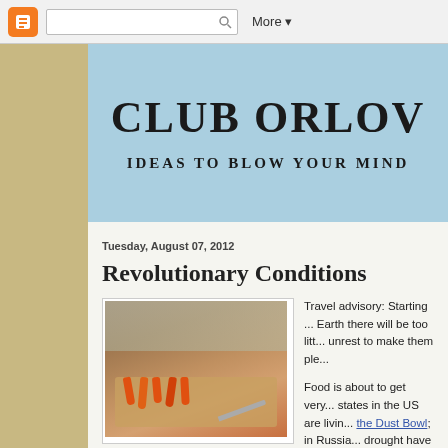Blogger navbar with search and More button
CLUB ORLOV
IDEAS TO BLOW YOUR MIND
Tuesday, August 07, 2012
Revolutionary Conditions
[Figure (photo): Carrots arranged humorously on a kitchen cutting board with knife, resembling small figures being threatened]
Travel advisory: Starting ... Earth there will be too lit... unrest to make them ple...
Food is about to get very... states in the US are livin... the Dust Bowl; in Russia... drought have produced s...